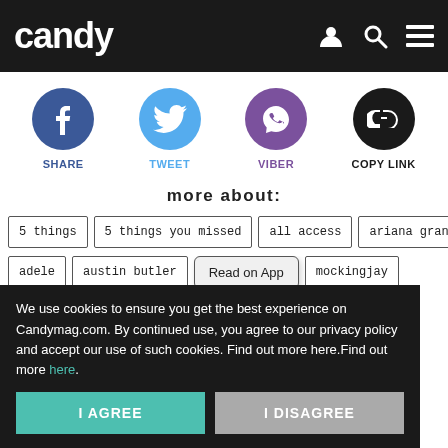candy
[Figure (screenshot): Social share buttons: Facebook (SHARE), Twitter (TWEET), Viber (VIBER), Copy Link (COPY LINK)]
more about:
5 things
5 things you missed
all access
ariana grande
adele
austin butler
Read on App
mockingjay
nina dobrev
the hunger games
vanessa hudgens
We use cookies to ensure you get the best experience on Candymag.com. By continued use, you agree to our privacy policy and accept our use of such cookies. Find out more here.Find out more here.
I AGREE
I DISAGREE